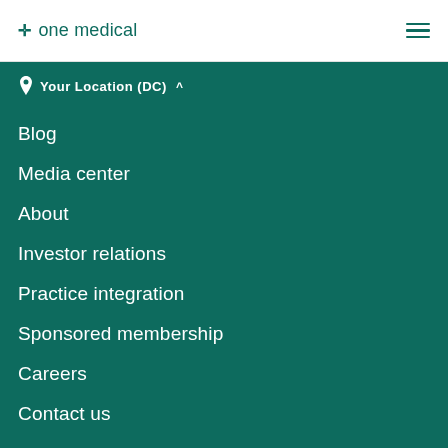✛ one medical
📍 Your Location (DC) ^
Blog
Media center
About
Investor relations
Practice integration
Sponsored membership
Careers
Contact us